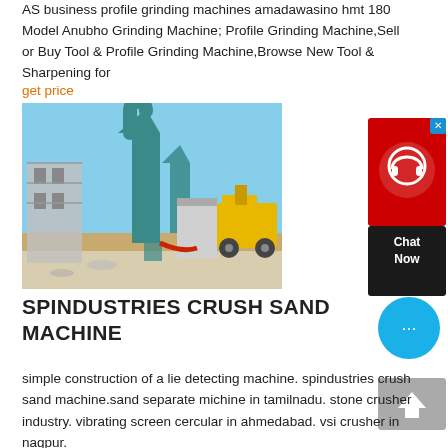AS business profile grinding machines amadawasino hmt 180 Model Anubho Grinding Machine; Profile Grinding Machine,Sell or Buy Tool & Profile Grinding Machine,Browse New Tool & Sharpening for
get price
[Figure (photo): Outdoor industrial grinding/crushing machine setup with a tall teal cyclone separator tower, conveyor belts, and construction equipment on sandy ground under blue sky.]
[Figure (other): Red chat widget with headset icon and Chat Now label, with X close button.]
SPINDUSTRIES CRUSH SAND MACHINE
[Figure (other): Cyan circular chat bubble button with ellipsis icon.]
[Figure (other): Grey back-to-top button with upward arrow.]
simple construction of a lie detecting machine. spindustries crush sand machine.sand separate michine in tamilnadu. stone crusher industry. vibrating screen cercular in ahmedabad. vsi crusher in nagpur.